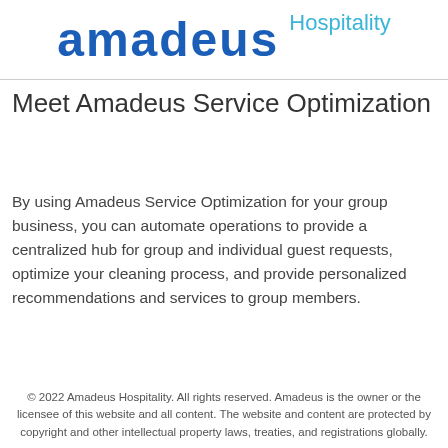amadeus Hospitality
Meet Amadeus Service Optimization
By using Amadeus Service Optimization for your group business, you can automate operations to provide a centralized hub for group and individual guest requests, optimize your cleaning process, and provide personalized recommendations and services to group members.
© 2022 Amadeus Hospitality. All rights reserved. Amadeus is the owner or the licensee of this website and all content. The website and content are protected by copyright and other intellectual property laws, treaties, and registrations globally.